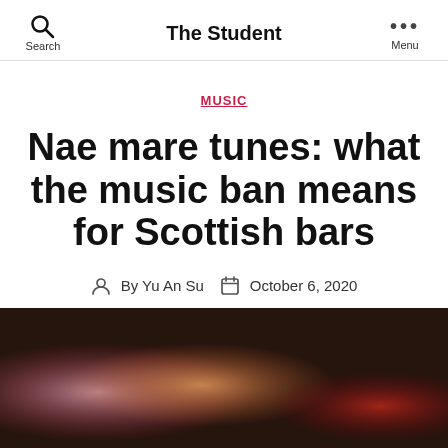Search  |  The Student  |  Menu
MUSIC
Nae mare tunes: what the music ban means for Scottish bars
By Yu An Su  October 6, 2020
[Figure (photo): Dark atmospheric photo of a bar or music venue with warm orange, red and pink lighting]